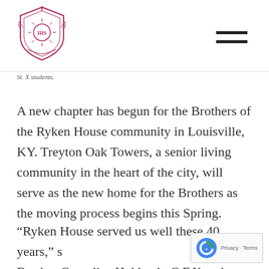St. Xavier High School logo and navigation
St. X students.
A new chapter has begun for the Brothers of the Ryken House community in Louisville, KY. Treyton Oak Towers, a senior living community in the heart of the city, will serve as the new home for the Brothers as the moving process begins this Spring.
“Ryken House served us well these 40 years,” said Brother Cornelius Hubbuch, C.F.X., whose